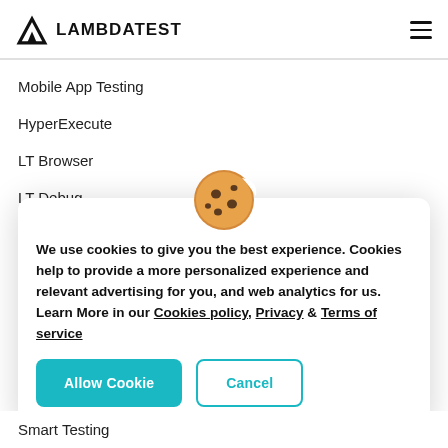LAMBDATEST
Mobile App Testing
HyperExecute
LT Browser
LT Debug
[Figure (illustration): Cookie consent modal with cookie emoji icon, explanatory text about cookies policy, and two buttons: Allow Cookie and Cancel]
Smart Testing